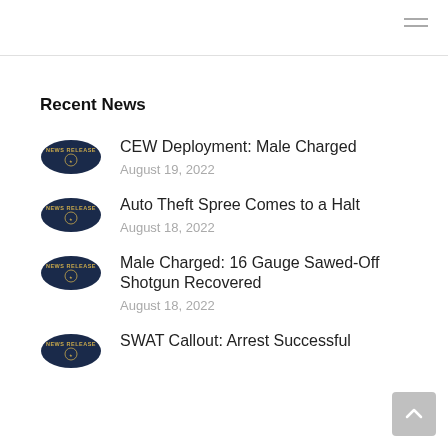Navigation menu
Recent News
CEW Deployment: Male Charged
August 19, 2022
Auto Theft Spree Comes to a Halt
August 18, 2022
Male Charged: 16 Gauge Sawed-Off Shotgun Recovered
August 18, 2022
SWAT Callout: Arrest Successful